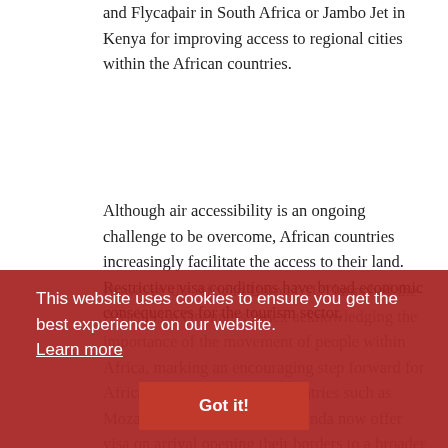and Flyсафair in South Africa or Jambo Jet in Kenya for improving access to regional cities within the African countries.
Although air accessibility is an ongoing challenge to be overcome, African countries increasingly facilitate the access to their land. Restrictive visa conditions have broad economic consequences for the tourism sector. However, the African Union (AU) launched the Africa Visa Openness Index acknowledging the importance of the movement of people within Africa, marking an encouraging step forward for African economies. Many countries such as Mozambique, Senegal and Uganda now offer visa on arrival opening their borders to a broader